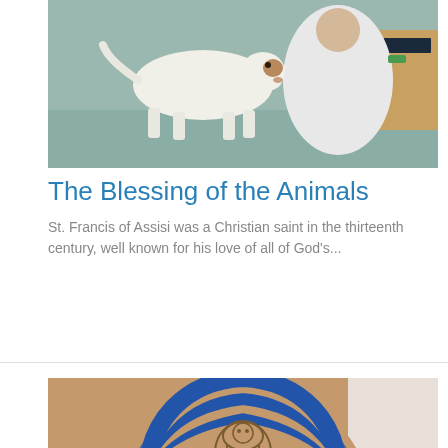[Figure (photo): A white dog standing on a floor near a person wearing a white garment, appearing to be blessing or greeting the dog, inside an indoor setting with wooden furniture]
The Blessing of the Animals
St. Francis of Assisi was a Christian saint in the thirteenth century, well known for his love of all of God's...
[Figure (photo): A child's face peeking through a hole in a large cardboard cutout decorated as an Egyptian pharaoh headdress with blue and tan stripes and a cobra symbol]